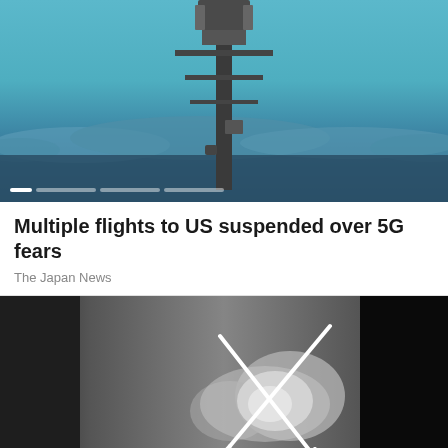[Figure (photo): A tall cellular/5G transmission tower against a blue cloudy sky at dusk, with carousel slide indicators at the bottom]
Multiple flights to US suspended over 5G fears
The Japan News
[Figure (photo): A black-and-white X-ray image of an ankle/foot showing two crossed metallic surgical pins or wires used for bone fixation]